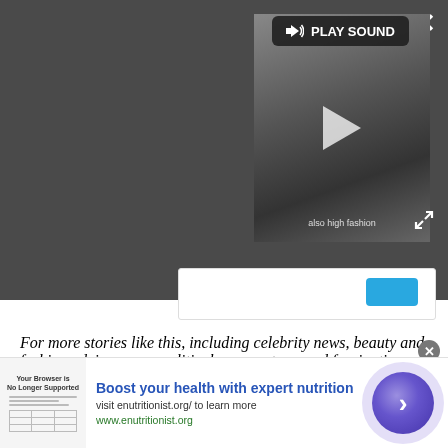[Figure (screenshot): Video player overlay with dark background, showing a woman with dark hair, a Play Sound button in top-left of the video panel, a play triangle in the center, subtitle text reading 'also high fashion', expand icon at bottom right, and a close X button at top right of the overlay.]
For more stories like this, including celebrity news, beauty and fashion advice, savvy political commentary, and fascinating features, sign up for the Marie Claire newsletter.
[Figure (screenshot): Advertisement banner: thumbnail image of a browser/nutritionist page on the left, text 'Boost your health with expert nutrition', 'visit enutritionist.org/ to learn more', 'www.enutritionist.org', a purple circular arrow button on the right, and a close X circle at top right.]